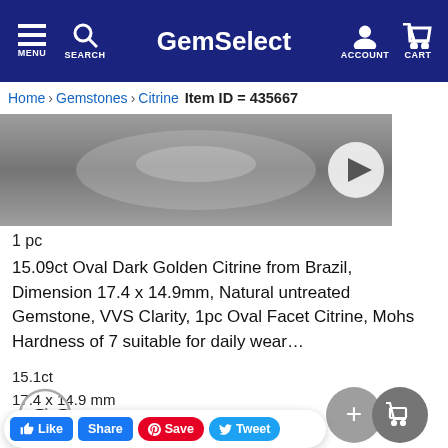GemSelect — MENU, SEARCH, ACCOUNT, CART
Home > Gemstones > Citrine > Item ID = 435667
[Figure (photo): Oval Dark Golden Citrine gemstone photo with video play button overlay]
1 pc
15.09ct Oval Dark Golden Citrine from Brazil, Dimension 17.4 x 14.9mm, Natural untreated Gemstone, VVS Clarity, 1pc Oval Facet Citrine, Mohs Hardness of 7 suitable for daily wear…
15.1ct
17.4 x 14.9 mm
$ 99.59